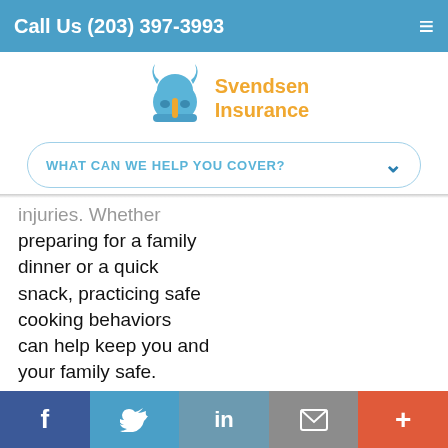Call Us (203) 397-3993
[Figure (logo): Svendsen Insurance logo with blue viking helmet and orange text]
WHAT CAN WE HELP YOU COVER?
injuries. Whether preparing for a family dinner or a quick snack, practicing safe cooking behaviors can help keep you and your family safe. Never leave your range or cooktop unattended while cooking.
Facebook | Twitter | LinkedIn | Email | More